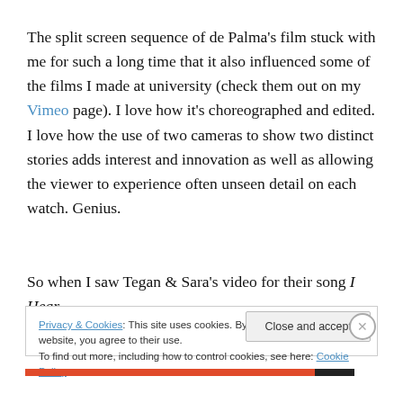The split screen sequence of de Palma's film stuck with me for such a long time that it also influenced some of the films I made at university (check them out on my Vimeo page). I love how it's choreographed and edited. I love how the use of two cameras to show two distinct stories adds interest and innovation as well as allowing the viewer to experience often unseen detail on each watch. Genius.
So when I saw Tegan & Sara's video for their song I Hear
Privacy & Cookies: This site uses cookies. By continuing to use this website, you agree to their use.
To find out more, including how to control cookies, see here: Cookie Policy